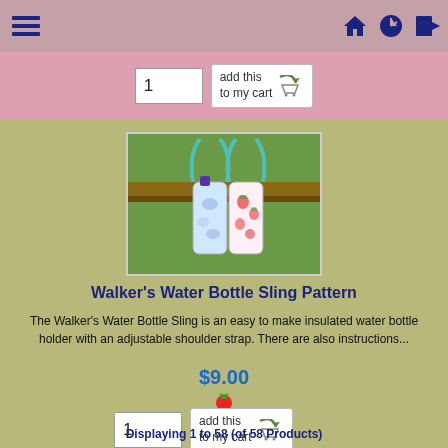Navigation bar with hamburger menu and home/upload/login icons
[Figure (screenshot): Add to cart row with quantity input '1' and 'add this to my cart' button, on pink background]
[Figure (photo): Two water bottles in fabric slings hanging from a bench outdoors on grass]
Walker's Water Bottle Sling Pattern
The Walker's Water Bottle Sling is an easy to make insulated water bottle holder with an adjustable shoulder strap. There are also instructions...
$9.00
[Figure (illustration): Small strawberry icon]
[Figure (screenshot): Add to cart row with quantity input '1' and 'add this to my cart' button]
Displaying 1 to 58 (of 58 Products)